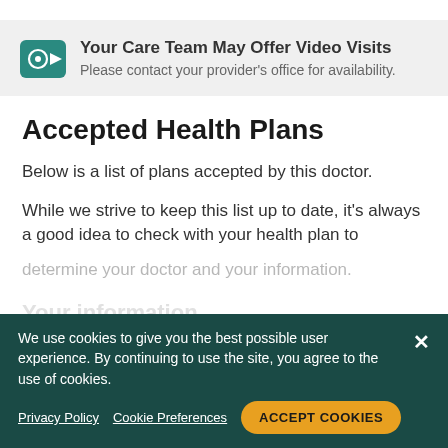[Figure (infographic): Teal video/telehealth icon with stethoscope and camera symbols]
Your Care Team May Offer Video Visits
Please contact your provider's office for availability.
Accepted Health Plans
Below is a list of plans accepted by this doctor.
While we strive to keep this list up to date, it's always a good idea to check with your health plan to
We use cookies to give you the best possible user experience. By continuing to use the site, you agree to the use of cookies.
Privacy Policy   Cookie Preferences   ACCEPT COOKIES